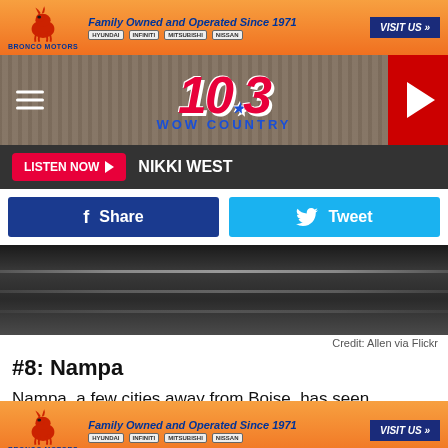[Figure (advertisement): Bronco Motors advertisement banner with horse logo, tagline 'Family Owned and Operated Since 1971', car brand logos (Hyundai, Infiniti, Mitsubishi, Nissan), and 'VISIT US' button]
[Figure (logo): 104.3 WOW Country radio station header with logo in red/blue on wood background, hamburger menu icon, and red play button on right]
LISTEN NOW  NIKKI WEST
[Figure (infographic): Facebook Share button and Twitter Tweet button]
[Figure (photo): Dark asphalt road surface photo]
Credit: Allen via Flickr
#8: Nampa
Nampa, a few cities away from Boise, has seen increased crime rates in past years. Violent crime increased by 30%
[Figure (advertisement): Bronco Motors bottom advertisement banner with horse logo, tagline 'Family Owned and Operated Since 1971', car brand logos, and 'VISIT US' button]